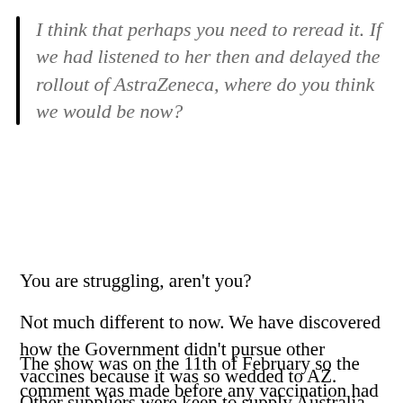I think that perhaps you need to reread it. If we had listened to her then and delayed the rollout of AstraZeneca, where do you think we would be now?
You are struggling, aren't you?
Not much different to now. We have discovered how the Government didn't pursue other vaccines because it was so wedded to AZ. Other suppliers were keen to supply Australia, so a transition would have been possible.
The show was on the 11th of February so the comment was made before any vaccination had started in Australia.